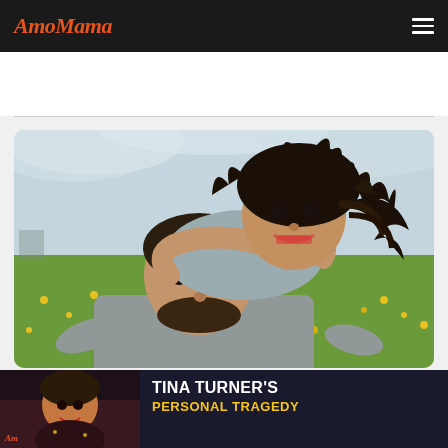AmoMama
[Figure (photo): A happy couple outdoors in a green field with yellow flowers. A woman with long curly dark hair is laughing and leaning on the back of a man with dark hair and a beard, both smiling.]
[Figure (photo): Ad banner at bottom: Tina Turner's Personal Tragedy - shows a photo of Tina Turner on the left and bold text on dark background]